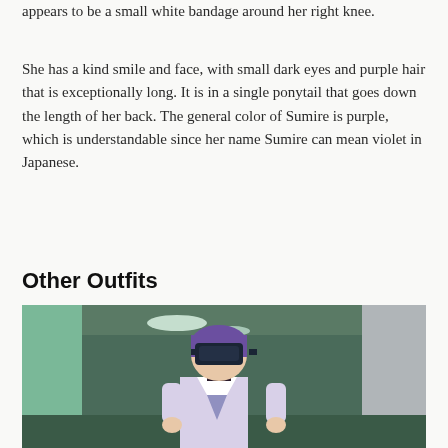appears to be a small white bandage around her right knee.
She has a kind smile and face, with small dark eyes and purple hair that is exceptionally long. It is in a single ponytail that goes down the length of her back. The general color of Sumire is purple, which is understandable since her name Sumire can mean violet in Japanese.
Other Outfits
[Figure (illustration): Anime illustration of a girl with short purple hair wearing a VR headset and a white and purple school uniform, standing in a corridor with green walls and ceiling lights.]